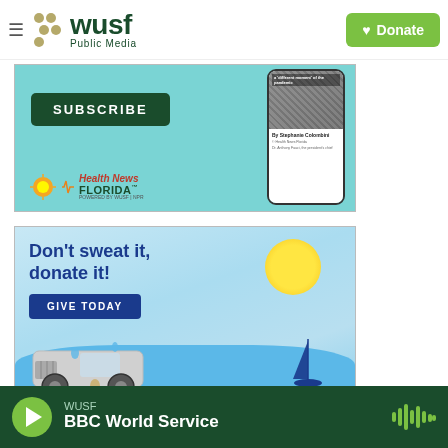WUSF Public Media — Donate
[Figure (screenshot): Health News Florida subscription ad with light blue background, SUBSCRIBE button, phone mockup showing a news article, and Health News Florida logo]
[Figure (screenshot): WUSF donation ad with 'Don't sweat it, donate it!' headline, GIVE TODAY button, sun, sailboat, and jeep illustration on a summer beach scene]
WUSF — BBC World Service